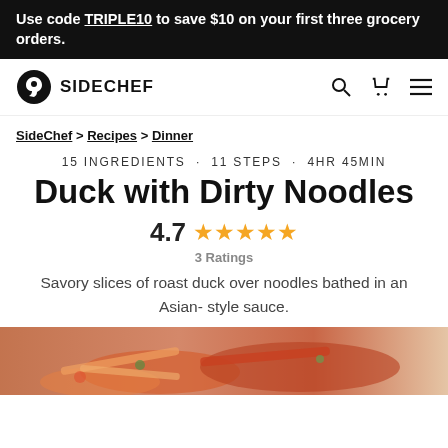Use code TRIPLE10 to save $10 on your first three grocery orders.
[Figure (logo): SideChef logo with navigation bar including search, cart and menu icons]
SideChef > Recipes > Dinner
15 INGREDIENTS · 11 STEPS · 4HR 45MIN
Duck with Dirty Noodles
4.7 ★★★★★ 3 Ratings
Savory slices of roast duck over noodles bathed in an Asian- style sauce.
[Figure (photo): Photo of duck with noodles dish showing roast duck slices over colorful noodles with vegetables in Asian sauce]